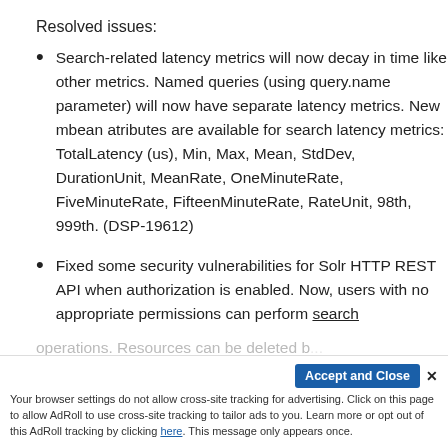Resolved issues:
Search-related latency metrics will now decay in time like other metrics. Named queries (using query.name parameter) will now have separate latency metrics. New mbean atributes are available for search latency metrics: TotalLatency (us), Min, Max, Mean, StdDev, DurationUnit, MeanRate, OneMinuteRate, FiveMinuteRate, FifteenMinuteRate, RateUnit, 98th, 999th. (DSP-19612)
Fixed some security vulnerabilities for Solr HTTP REST API when authorization is enabled. Now, users with no appropriate permissions can perform search operations. Resources can be deleted...
Accept and Close ×
Your browser settings do not allow cross-site tracking for advertising. Click on this page to allow AdRoll to use cross-site tracking to tailor ads to you. Learn more or opt out of this AdRoll tracking by clicking here. This message only appears once.